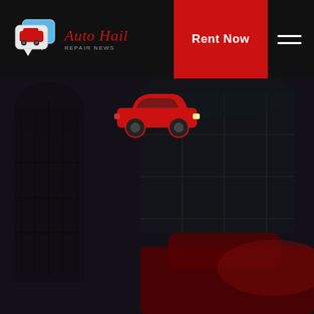[Figure (logo): Auto Hail Repair News logo with speech bubble car icon and italic red script text]
Rent Now
[Figure (illustration): Red car icon silhouette over dark background photo of building with arched doorway and grid windows, with red sports car visible at bottom]
PAINTLESS DENT REMOVAL SHOPS BORING OREGON
We remove dents, dings, and hail damage!